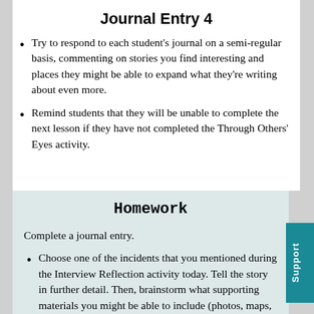Journal Entry 4
Try to respond to each student's journal on a semi-regular basis, commenting on stories you find interesting and places they might be able to expand what they're writing about even more.
Remind students that they will be unable to complete the next lesson if they have not completed the Through Others' Eyes activity.
Homework
Complete a journal entry.
Choose one of the incidents that you mentioned during the Interview Reflection activity today. Tell the story in further detail. Then, brainstorm what supporting materials you might be able to include (photos, maps,